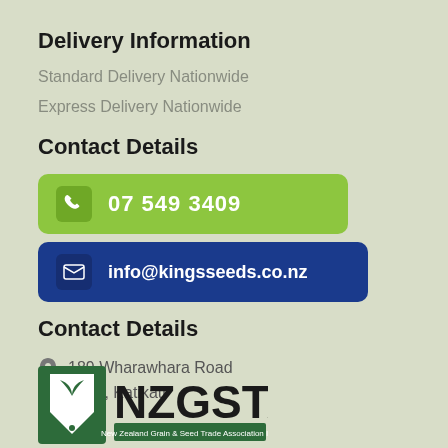Delivery Information
Standard Delivery Nationwide
Express Delivery Nationwide
Contact Details
07 549 3409
info@kingsseeds.co.nz
Contact Details
189 Wharawhara Road
RD 2, Katikati
[Figure (logo): NZGSTA - New Zealand Grain & Seed Trade Association Inc. logo with green shield emblem]